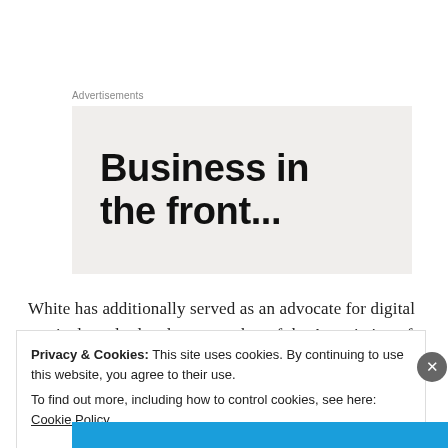Advertisements
[Figure (other): Advertisement banner with text 'Business in the front...' on a light beige background]
White has additionally served as an advocate for digital curricula and related as a member of the Association of School Curriculum & Development and Maryland Association of School Curriculum and
Privacy & Cookies: This site uses cookies. By continuing to use this website, you agree to their use.
To find out more, including how to control cookies, see here: Cookie Policy
Close and accept